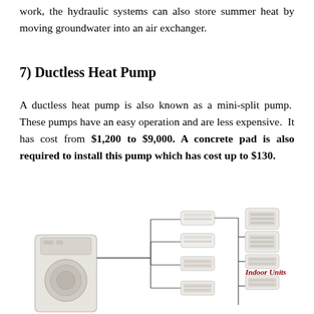work, the hydraulic systems can also store summer heat by moving groundwater into an air exchanger.
7) Ductless Heat Pump
A ductless heat pump is also known as a mini-split pump. These pumps have an easy operation and are less expensive. It has cost from $1,200 to $9,000. A concrete pad is also required to install this pump which has cost up to $130.
[Figure (illustration): Diagram of a ductless mini-split heat pump system showing an outdoor unit on the left connected to multiple indoor units on the right, including wall-mounted, ceiling cassette, floor-mounted, and ducted units, with the label 'Indoor Units' in dark red italic text.]